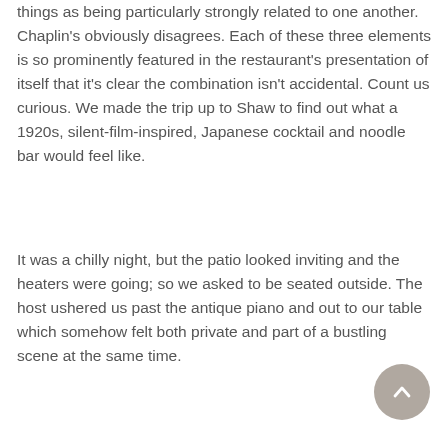things as being particularly strongly related to one another. Chaplin's obviously disagrees. Each of these three elements is so prominently featured in the restaurant's presentation of itself that it's clear the combination isn't accidental. Count us curious. We made the trip up to Shaw to find out what a 1920s, silent-film-inspired, Japanese cocktail and noodle bar would feel like.
It was a chilly night, but the patio looked inviting and the heaters were going; so we asked to be seated outside. The host ushered us past the antique piano and out to our table which somehow felt both private and part of a bustling scene at the same time.